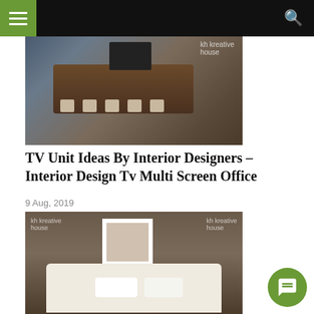Navigation header with hamburger menu and search icon
[Figure (photo): Interior design photo showing a conference room with a long dark wooden table, chairs, and multiple screens on the wall.]
TV Unit Ideas By Interior Designers – Interior Design Tv Multi Screen Office
9 Aug, 2019
[Figure (photo): Bedroom interior design photo showing a bed with white bedding and pillows against a taupe wall with a framed artwork, branded with 'kh kreative house' logos.]
Bedroom Wall Decoration Designs In Hyderabad – Bed Room Bedroom Decoration Wall